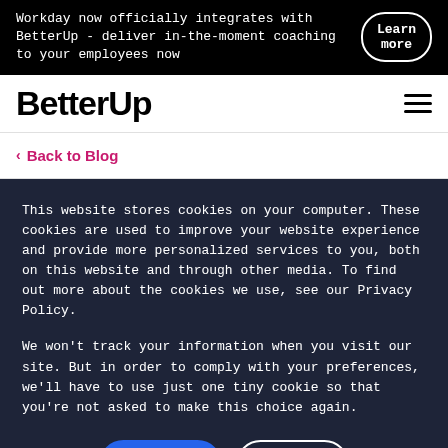Workday now officially integrates with BetterUp - deliver in-the-moment coaching to your employees now
[Figure (logo): BetterUp logo in bold black text]
Back to Blog
This website stores cookies on your computer. These cookies are used to improve your website experience and provide more personalized services to you, both on this website and through other media. To find out more about the cookies we use, see our Privacy Policy.
We won't track your information when you visit our site. But in order to comply with your preferences, we'll have to use just one tiny cookie so that you're not asked to make this choice again.